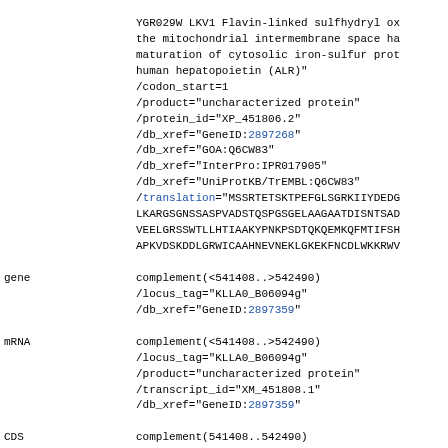YGR029W LKV1 Flavin-linked sulfhydryl ox the mitochondrial intermembrane space ha maturation of cytosolic iron-sulfur prot human hepatopoietin (ALR)"
/codon_start=1
/product="uncharacterized protein"
/protein_id="XP_451806.2"
/db_xref="GeneID:2897268"
/db_xref="GOA:Q6CW83"
/db_xref="InterPro:IPR017905"
/db_xref="UniProtKB/TrEMBL:Q6CW83"
/translation="MSSRTETSKTPEFGLSGRKIIYDEDG
LKARGSGNSSASPVADSTQSPGSGELAAGAATDISNTSAD
VEELGRSSWTLLHTIAAKYPNKPSDTQKQEMKQFMTIFSH
APKVDSKDDLGRWICAAHNEVNEKLGKEKFNCDLWKKRWV
gene        complement(<541408..>542490)
/locus_tag="KLLA0_B06094g"
/db_xref="GeneID:2897359"
mRNA        complement(<541408..>542490)
/locus_tag="KLLA0_B06094g"
/product="uncharacterized protein"
/transcript_id="XM_451808.1"
/db_xref="GeneID:2897359"
CDS         complement(541408..542490)
/locus_tag="KLLA0_B06094g"
/note="highly similar to uniprot|P28737 cerevisiae YGR028W MSP1 Mitochondrial pr sorting of proteins in the mitochondria membrane-spanning ATPase"
/codon_start=1
/product="uncharacterized protein"
/protein_id="XP_451808.1"
/db_xref="GeneID:2897359"